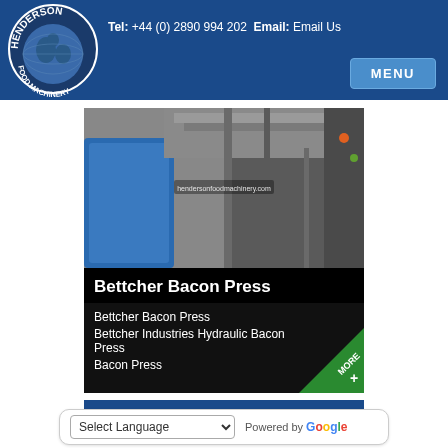Henderson Food Machinery – Tel: +44 (0) 2890 994 202 Email: Email Us
[Figure (logo): Henderson Food Machinery circular logo with globe]
[Figure (photo): Bettcher Bacon Press industrial machinery photo showing metal equipment]
Bettcher Bacon Press
Bettcher Bacon Press
Bettcher Industries Hydraulic Bacon Press
Bacon Press
[Figure (photo): 4 out of 5 stars rating displayed on blue background, followed by partial image of food machinery]
Select Language – Powered by Google